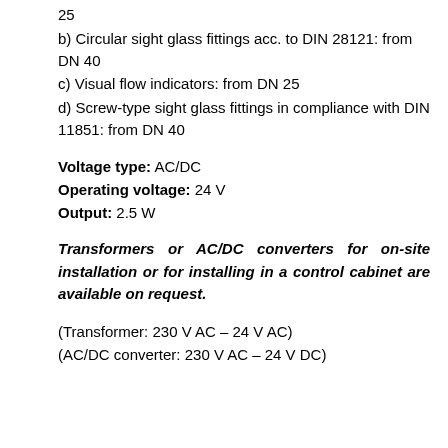25
b) Circular sight glass fittings acc. to DIN 28121: from DN 40
c) Visual flow indicators: from DN 25
d) Screw-type sight glass fittings in compliance with DIN 11851: from DN 40
Voltage type: AC/DC
Operating voltage: 24 V
Output: 2.5 W
Transformers or AC/DC converters for on-site installation or for installing in a control cabinet are available on request.
(Transformer: 230 V AC – 24 V AC)
(AC/DC converter: 230 V AC – 24 V DC)